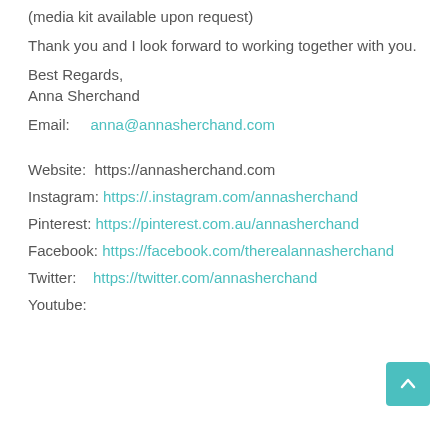(media kit available upon request)
Thank you and I look forward to working together with you.
Best Regards,
Anna Sherchand
Email:      anna@annasherchand.com
Website:  https://annasherchand.com
Instagram: https://.instagram.com/annasherchand
Pinterest: https://pinterest.com.au/annasherchand
Facebook: https://facebook.com/therealannasherchand
Twitter:    https://twitter.com/annasherchand
Youtube: